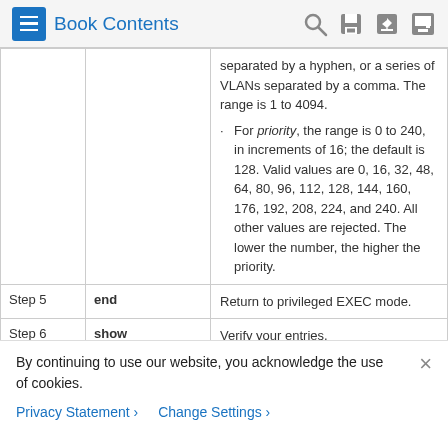Book Contents
| Step | Command | Description |
| --- | --- | --- |
|  |  | separated by a hyphen, or a series of VLANs separated by a comma. The range is 1 to 4094. · For priority, the range is 0 to 240, in increments of 16; the default is 128. Valid values are 0, 16, 32, 48, 64, 80, 96, 112, 128, 144, 160, 176, 192, 208, 224, and 240. All other values are rejected. The lower the number, the higher the priority. |
| Step 5 | end | Return to privileged EXEC mode. |
| Step 6 | show spanning- | Verify your entries. |
By continuing to use our website, you acknowledge the use of cookies.
Privacy Statement   Change Settings